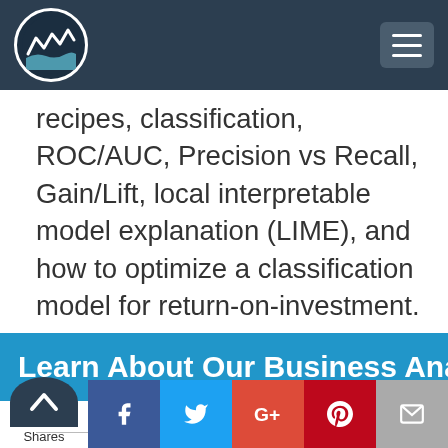[Figure (logo): Website logo with mountain/wave graphic in circular frame on dark navy navigation bar with hamburger menu button]
recipes, classification, ROC/AUC, Precision vs Recall, Gain/Lift, local interpretable model explanation (LIME), and how to optimize a classification model for return-on-investment.
Learn About Our Business Analysis W
[Figure (infographic): Social share bar with Facebook, Twitter, Google+, Pinterest, and email buttons, plus shares count with up arrow circle]